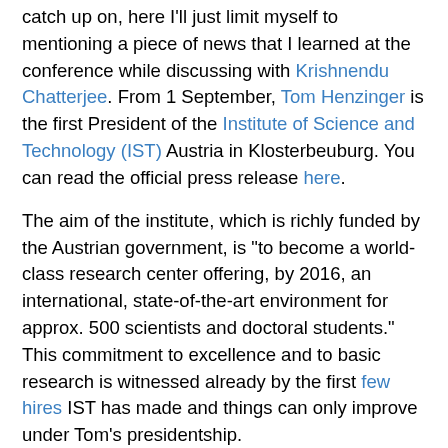catch up on, here I'll just limit myself to mentioning a piece of news that I learned at the conference while discussing with Krishnendu Chatterjee. From 1 September, Tom Henzinger is the first President of the Institute of Science and Technology (IST) Austria in Klosterbeuburg. You can read the official press release here.
The aim of the institute, which is richly funded by the Austrian government, is "to become a world-class research center offering, by 2016, an international, state-of-the-art environment for approx. 500 scientists and doctoral students." This commitment to excellence and to basic research is witnessed already by the first few hires IST has made and things can only improve under Tom's presidentship.
I wish Tom and IST the best of luck. It is great to see Austria invest on basic research with the creation of such an institute, which is already bringing to Europe top-class scientists like Herbert Edelsbrunner (the only computer scientist to have won the National Science Foundation's Alan T. Waterman Award) and researchers of exceptional